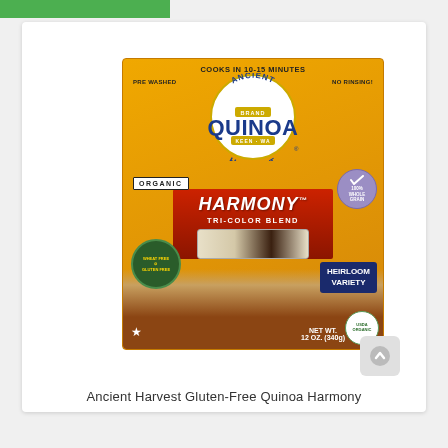[Figure (photo): Product photo of Ancient Harvest Gluten-Free Quinoa Harmony Tri-Color Blend box, 12 oz (340g). Orange/gold box with 'ANCIENT HARVEST BRAND QUINOA' logo, 'ORGANIC HARMONY TRI-COLOR BLEND', 'HEIRLOOM VARIETY', 'WHEAT FREE GLUTEN FREE', '100% WHOLE GRAIN', 'COOKS IN 10-15 MINUTES', 'PRE WASHED', 'NO RINSING!', USDA Organic seal, NET WT. 12 OZ. (340g).]
Ancient Harvest Gluten-Free Quinoa Harmony